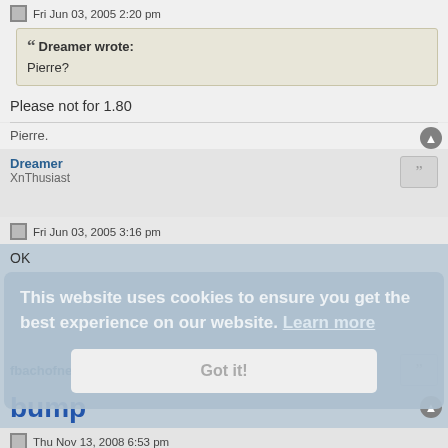Fri Jun 03, 2005 2:20 pm
Dreamer wrote:
Pierre?
Please not for 1.80
Pierre.
Dreamer
XnThusiast
Fri Jun 03, 2005 3:16 pm
OK
This website uses cookies to ensure you get the best experience on our website. Learn more
Got it!
fbachofner
bump
Thu Nov 13, 2008 6:53 pm